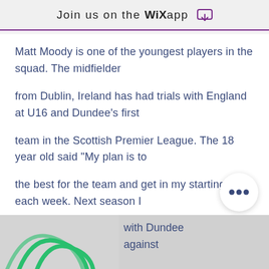Join us on the WiX app
Matt Moody is one of the youngest players in the squad. The midfielder from Dublin, Ireland has had trials with England at U16 and Dundee's first team in the Scottish Premier League. The 18 year old said "My plan is to the best for the team and get in my starting 11 each week. Next season I want to try get signed by a professional team. The best highlights from my with Dundee against
[Figure (other): Partial image at bottom of page showing a green graphic or logo on a grey background, with text 'with Dundee against']